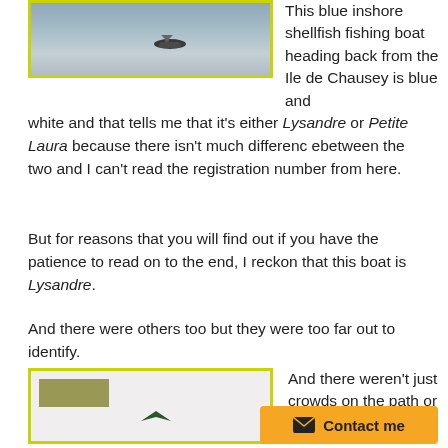[Figure (photo): A blue inshore shellfish fishing boat on the water, heading back from the Ile de Chausey, with a yellow-green border frame.]
This blue inshore shellfish fishing boat heading back from the Ile de Chausey is blue and white and that tells me that it's either Lysandre or Petite Laura because there isn't much differenc ebetween the two and I can't read the registration number from here.
But for reasons that you will find out if you have the patience to read on to the end, I reckon that this boat is Lysandre.
And there were others too but they were too far out to identify.
[Figure (photo): A photo showing a partially visible scene with a green-labeled item in the upper left and what appears to be a bird shape, with yellow-green border frame.]
And there weren't just crowds on the path or on the sea either.